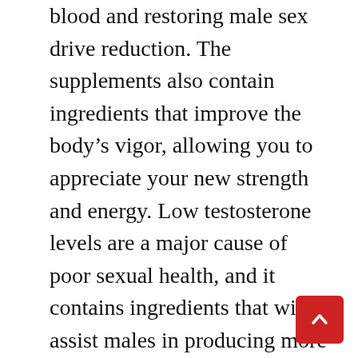blood and restoring male sex drive reduction. The supplements also contain ingredients that improve the body's vigor, allowing you to appreciate your new strength and energy. Low testosterone levels are a major cause of poor sexual health, and it contains ingredients that will assist males in producing more hormones. As a result, the cardiac wall's efficiency will be enhanced, which will aid in strokes. The ingredients in this supplement increase blood flow to the penile cells, resulting in a larger erection.

Wonder Leaf CBD Oil also boosts the strength and consistency of strokes, allowing you to rapidly fulfill your spouse. Moreover, the